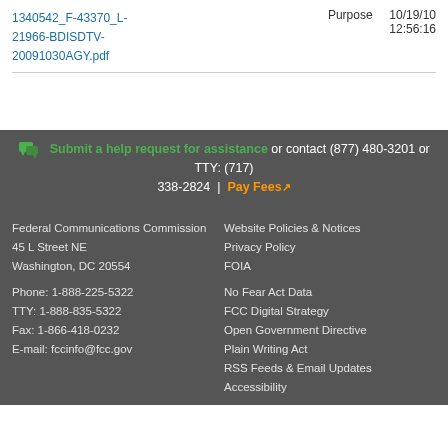1340542_F-43370_L-21966-BDISDTV-20091030AGY.pdf
Purpose  10/19/10 12:56:16
Submit a help request for assistance or contact (877) 480-3201 or TTY: (717) 338-2824  |  Pay Fees
Federal Communications Commission
45 L Street NE
Washington, DC 20554

Phone: 1-888-225-5322
TTY: 1-888-835-5322
Fax: 1-866-418-0232
E-mail: fccinfo@fcc.gov
Website Policies & Notices
Privacy Policy
FOIA
No Fear Act Data
FCC Digital Strategy
Open Government Directive
Plain Writing Act
RSS Feeds & Email Updates
Accessibility